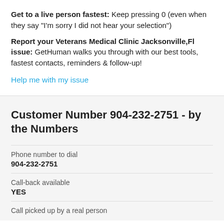Get to a live person fastest: Keep pressing 0 (even when they say "I'm sorry I did not hear your selection")
Report your Veterans Medical Clinic Jacksonville,Fl issue: GetHuman walks you through with our best tools, fastest contacts, reminders & follow-up!
Help me with my issue
Customer Number 904-232-2751 - by the Numbers
| Phone number to dial | 904-232-2751 |
| Call-back available | YES |
| Call picked up by a real person |  |